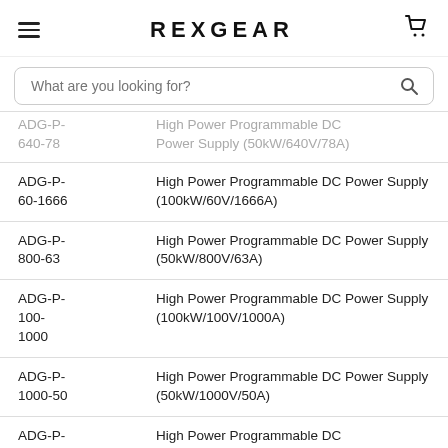REXGEAR
What are you looking for?
| Model | Description |
| --- | --- |
| ADG-P-640-78 | High Power Programmable DC Power Supply (50kW/640V/78A) |
| ADG-P-60-1666 | High Power Programmable DC Power Supply (100kW/60V/1666A) |
| ADG-P-800-63 | High Power Programmable DC Power Supply (50kW/800V/63A) |
| ADG-P-100-1000 | High Power Programmable DC Power Supply (100kW/100V/1000A) |
| ADG-P-1000-50 | High Power Programmable DC Power Supply (50kW/1000V/50A) |
| ADG-P-320-312 | High Power Programmable DC Power Supply (100kW/320V/312A) |